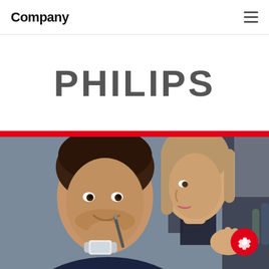Company
PHILIPS
[Figure (photo): Photograph of two people in a business meeting setting; a man in a dark shirt with a watch holding a pen to his mouth and a woman gesturing with her hands, viewed from close-up side angle]